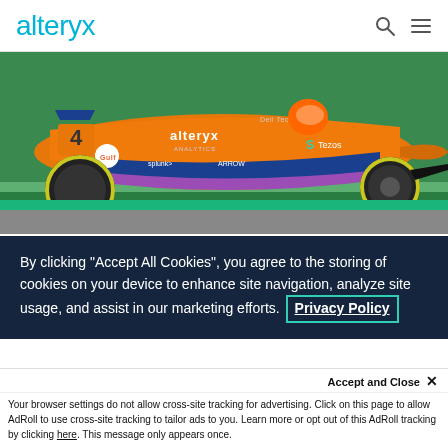alteryx
[Figure (photo): McLaren Formula 1 car in orange with Alteryx Analytics branding, number 4, racing on track with green background. Sponsors include Dell Technologies, Splunk, Arrow, Tezos, Gulf.]
HISTORIA DE CLIENTE | 5 minutos para leer
McLaren Racing agiliza el análisis de
By clicking "Accept All Cookies", you agree to the storing of cookies on your device to enhance site navigation, analyze site usage, and assist in our marketing efforts. Privacy Policy
Accept and Close ✕
Your browser settings do not allow cross-site tracking for advertising. Click on this page to allow AdRoll to use cross-site tracking to tailor ads to you. Learn more or opt out of this AdRoll tracking by clicking here. This message only appears once.